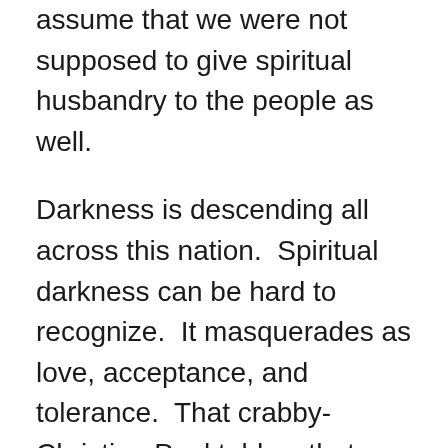assume that we were not supposed to give spiritual husbandry to the people as well.
Darkness is descending all across this nation.  Spiritual darkness can be hard to recognize.  It masquerades as love, acceptance, and tolerance.  That crabby-Christian Paul told us that we are to “have nothing to do with the unfruitful works of darkness.”  He told us to